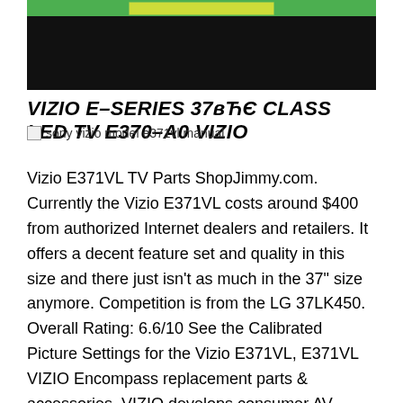[Figure (photo): Top portion of a circuit board or TV component image with green bar at top and dark/black panel below]
VIZIO E-SERIES 37" CLASS LED TV E370-A0 VIZIO
sony vizio model e371vl manual
Vizio E371VL TV Parts ShopJimmy.com. Currently the Vizio E371VL costs around $400 from authorized Internet dealers and retailers. It offers a decent feature set and quality in this size and there just isn't as much in the 37" size anymore. Competition is from the LG 37LK450. Overall Rating: 6.6/10 See the Calibrated Picture Settings for the Vizio E371VL, E371VL VIZIO Encompass replacement parts & accessories. VIZIO develops consumer AV electronics, including LCD TVs, surround sound systems...